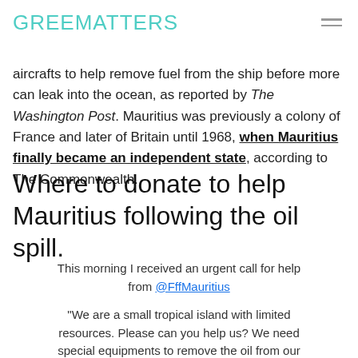GREENMATTERS
aircrafts to help remove fuel from the ship before more can leak into the ocean, as reported by The Washington Post. Mauritius was previously a colony of France and later of Britain until 1968, when Mauritius finally became an independent state, according to The Commonwealth.
Where to donate to help Mauritius following the oil spill.
This morning I received an urgent call for help from @FffMauritius
"We are a small tropical island with limited resources. Please can you help us? We need special equipments to remove the oil from our coasts and sea."